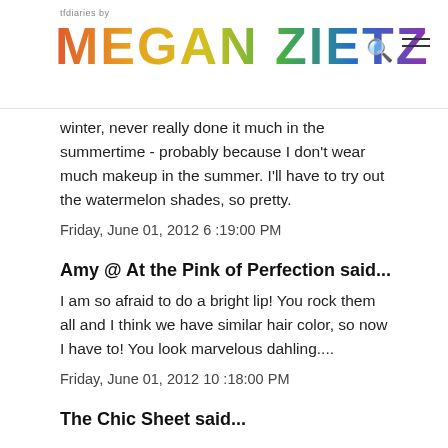tfdiaries by MEGAN ZIETZ
winter, never really done it much in the summertime - probably because I don't wear much makeup in the summer. I'll have to try out the watermelon shades, so pretty.
Friday, June 01, 2012 6:19:00 PM
Amy @ At the Pink of Perfection said...
I am so afraid to do a bright lip! You rock them all and I think we have similar hair color, so now I have to! You look marvelous dahling....
Friday, June 01, 2012 10:18:00 PM
The Chic Sheet said...